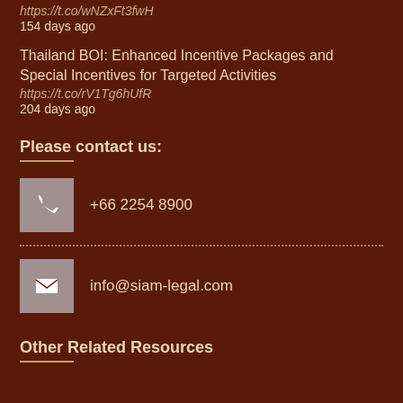https://t.co/wNZxFt3fwH
154 days ago
Thailand BOI: Enhanced Incentive Packages and Special Incentives for Targeted Activities
https://t.co/rV1Tg6hUfR
204 days ago
Please contact us:
+66 2254 8900
info@siam-legal.com
Other Related Resources